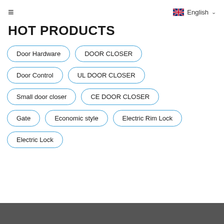≡  English ∨
HOT PRODUCTS
Door Hardware
DOOR CLOSER
Door Control
UL DOOR CLOSER
Small door closer
CE DOOR CLOSER
Gate
Economic style
Electric Rim Lock
Electric Lock